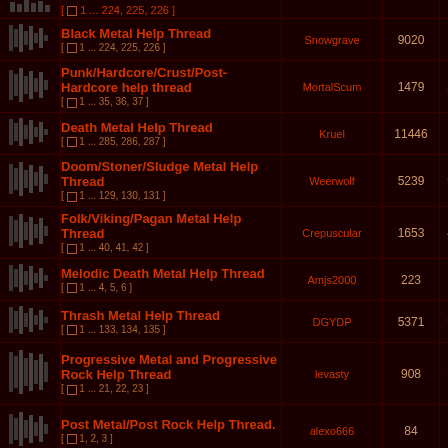|  | Thread | Author | Replies | Views |
| --- | --- | --- | --- | --- |
| [icon] | Black Metal Help Thread
[ 1 ... 224, 225, 226 ] | Snowgrave | 9020 | 12535… |
| [icon] | Punk/Hardcore/Crust/Post-Hardcore help thread
[ 1 ... 35, 36, 37 ] | MortalScum | 1479 | 37956… |
| [icon] | Death Metal Help Thread
[ 1 ... 285, 286, 287 ] | Kruel | 11446 | 15332… |
| [icon] | Doom/Stoner/Sludge Metal Help Thread
[ 1 ... 129, 130, 131 ] | Weerwolf | 5239 | 99588… |
| [icon] | Folk/Viking/Pagan Metal Help Thread
[ 1 ... 40, 41, 42 ] | Crepuscular | 1653 | 46058… |
| [icon] | Melodic Death Metal Help Thread
[ 1 ... 4, 5, 6 ] | Amjs2000 | 223 | 10359… |
| [icon] | Thrash Metal Help Thread
[ 1 ... 133, 134, 135 ] | DGYDP | 5371 | 92432… |
| [icon] | Progressive Metal and Progressive Rock Help Thread
[ 1 ... 21, 22, 23 ] | levasty | 908 | 38464… |
| [icon] | Post Metal/Post Rock Help Thread.
[ 1, 2, 3 ] | alexo666 | 84 | 4344… |
| [icon] | Tom Heavy Drummers | Amosofnlm | 4 | 33… |